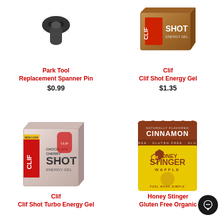[Figure (photo): Park Tool Replacement Spanner Pin product image, small dark metal tool part on white background]
Park Tool
Replacement Spanner Pin
$0.99
[Figure (photo): Clif Shot Energy Gel box, brown/tan colored box with Clif logo]
Clif
Clif Shot Energy Gel
$1.35
[Figure (photo): Clif Shot Turbo Energy Gel box, pink/rose colored box, chocolate cherry flavor with extra caffeine]
Clif
Clif Shot Turbo Energy Gel
[Figure (photo): Honey Stinger Gluten Free Organic Cinnamon Waffle, brown and yellow packaging]
Honey Stinger
Gluten Free Organic